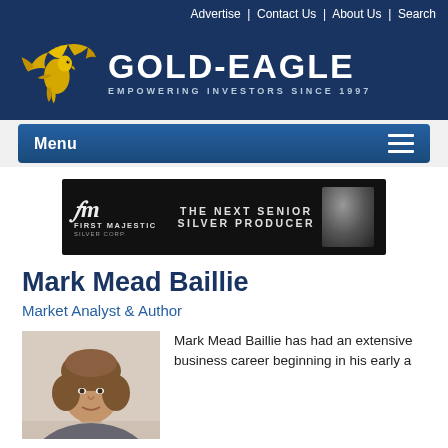Advertise | Contact Us | About Us | Search
[Figure (logo): Gold-Eagle logo with golden eagle and text 'GOLD-EAGLE EMPOWERING INVESTORS SINCE 1997' on dark navy background]
Menu
[Figure (illustration): First Majestic Silver Corp banner advertisement: 'THE NEXT SENIOR SILVER PRODUCER']
Mark Mead Baillie
Market Analyst & Author
[Figure (photo): Headshot photo of Mark Mead Baillie]
Mark Mead Baillie has had an extensive business career beginning in his early a